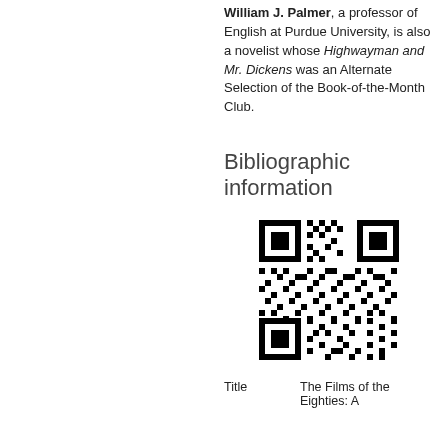William J. Palmer, a professor of English at Purdue University, is also a novelist whose Highwayman and Mr. Dickens was an Alternate Selection of the Book-of-the-Month Club.
Bibliographic information
[Figure (other): QR code for bibliographic information]
| Title | The Films of the Eighties: A |